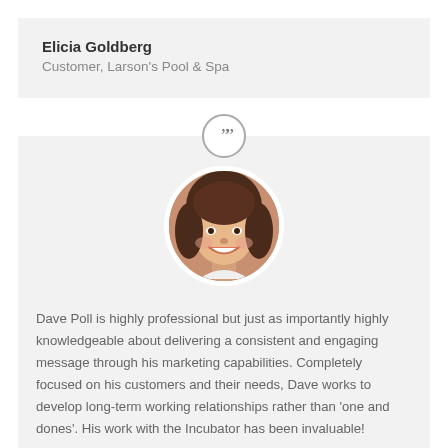Elicia Goldberg
Customer, Larson's Pool & Spa
[Figure (photo): Circular portrait photo of a smiling woman with dark hair]
Dave Poll is highly professional but just as importantly highly knowledgeable about delivering a consistent and engaging message through his marketing capabilities. Completely focused on his customers and their needs, Dave works to develop long-term working relationships rather than 'one and dones'. His work with the Incubator has been invaluable!